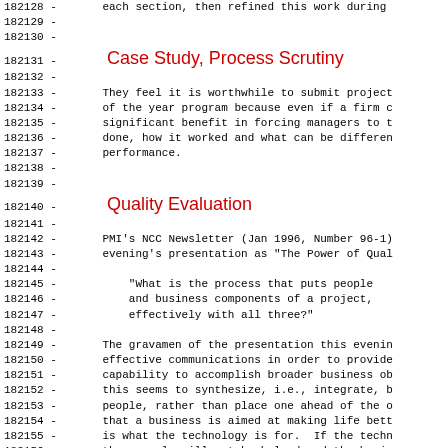182128 - each section, then refined this work during
182129 -
182130 -
Case Study, Process Scrutiny
182132 -
182133 - They feel it is worthwhile to submit project
182134 - of the year program because even if a firm c
182135 - significant benefit in forcing managers to t
182136 - done, how it worked and what can be differen
182137 - performance.
182138 -
182139 -
Quality Evaluation
182141 -
182142 - PMI's NCC Newsletter (Jan 1996, Number 96-1)
182143 - evening's presentation as "The Power of Qual
182144 -
182145 -     "What is the process that puts people
182146 -     and business components of a project,
182147 -     effectively with all three?"
182148 -
182149 - The gravamen of the presentation this evenin
182150 - effective communications in order to provide
182151 - capability to accomplish broader business ob
182152 - this seems to synthesize, i.e., integrate, b
182153 - people, rather than place one ahead of the o
182154 - that a business is aimed at making life bett
182155 - is what the technology is for.  If the techn
182156 - then people will not be helped and the busin